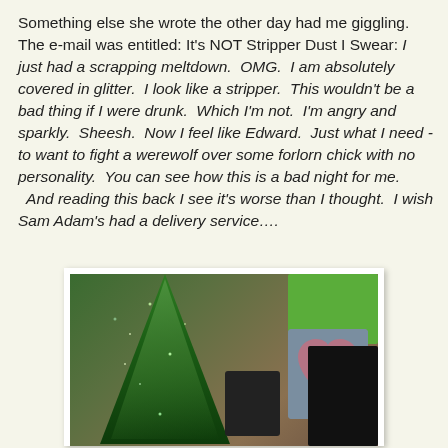Something else she wrote the other day had me giggling. The e-mail was entitled: It's NOT Stripper Dust I Swear: I just had a scrapping meltdown. OMG. I am absolutely covered in glitter. I look like a stripper. This wouldn't be a bad thing if I were drunk. Which I'm not. I'm angry and sparkly. Sheesh. Now I feel like Edward. Just what I need - to want to fight a werewolf over some forlorn chick with no personality. You can see how this is a bad night for me. And reading this back I see it's worse than I thought. I wish Sam Adam's had a delivery service….
[Figure (photo): Photo of a small sparkly green Christmas tree with glitter, placed in front of a blue/grey planter with a pink heart design, next to a dark cylindrical object and a black tablet/device. A green box is visible in the upper right background.]